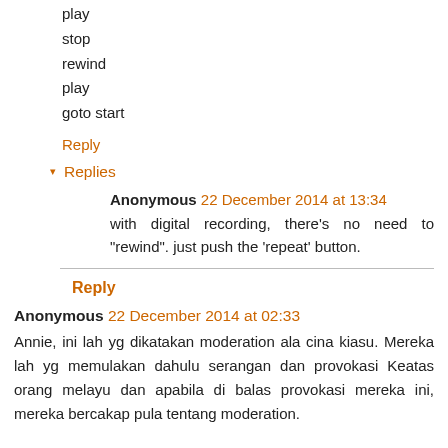play
stop
rewind
play
goto start
Reply
▾ Replies
Anonymous 22 December 2014 at 13:34
with digital recording, there's no need to "rewind". just push the 'repeat' button.
Reply
Anonymous 22 December 2014 at 02:33
Annie, ini lah yg dikatakan moderation ala cina kiasu. Mereka lah yg memulakan dahulu serangan dan provokasi Keatas orang melayu dan apabila di balas provokasi mereka ini, mereka bercakap pula tentang moderation.